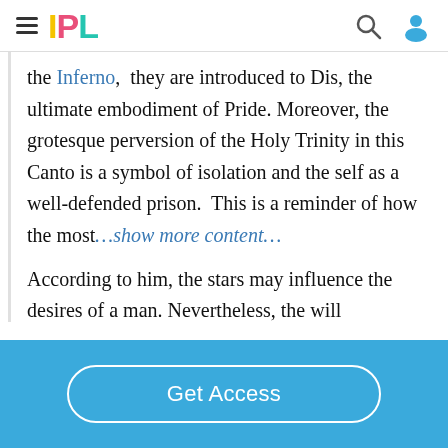IPL
the Inferno, they are introduced to Dis, the ultimate embodiment of Pride. Moreover, the grotesque perversion of the Holy Trinity in this Canto is a symbol of isolation and the self as a well-defended prison. This is a reminder of how the most…show more content…
According to him, the stars may influence the desires of a man. Nevertheless, the will
Get Access